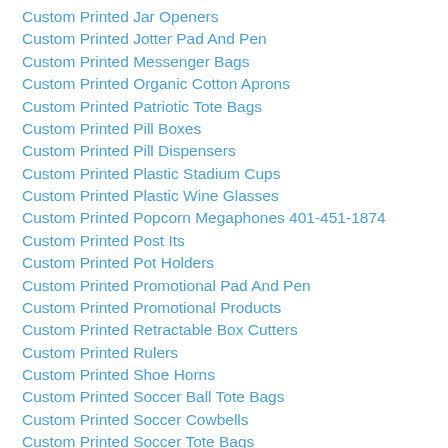Custom Printed Jar Openers
Custom Printed Jotter Pad And Pen
Custom Printed Messenger Bags
Custom Printed Organic Cotton Aprons
Custom Printed Patriotic Tote Bags
Custom Printed Pill Boxes
Custom Printed Pill Dispensers
Custom Printed Plastic Stadium Cups
Custom Printed Plastic Wine Glasses
Custom Printed Popcorn Megaphones 401-451-1874
Custom Printed Post Its
Custom Printed Pot Holders
Custom Printed Promotional Pad And Pen
Custom Printed Promotional Products
Custom Printed Retractable Box Cutters
Custom Printed Rulers
Custom Printed Shoe Horns
Custom Printed Soccer Ball Tote Bags
Custom Printed Soccer Cowbells
Custom Printed Soccer Tote Bags
Custom Printed Soft Cooler Bags